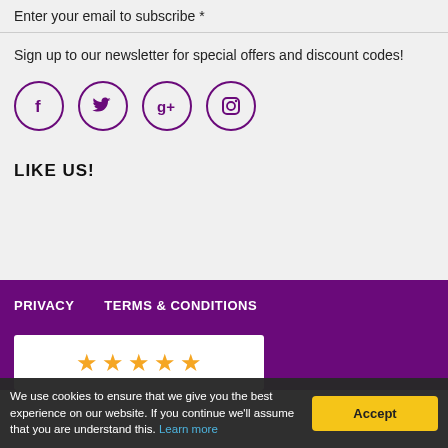Enter your email to subscribe *
Sign up to our newsletter for special offers and discount codes!
[Figure (other): Four social media icon circles: Facebook (f), Twitter (bird), Google+ (g+), Instagram (camera)]
LIKE US!
PRIVACY   TERMS & CONDITIONS
[Figure (other): Five orange star rating icons on white background]
We use cookies to ensure that we give you the best experience on our website. If you continue we'll assume that you are understand this. Learn more